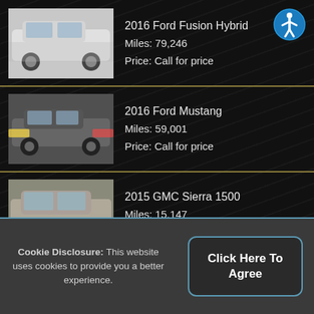2016 Ford Fusion Hybrid
Miles: 79,246
Price: Call for price
2016 Ford Mustang
Miles: 59,001
Price: Call for price
2015 GMC Sierra 1500
Miles: 15,147
Price: Call for price
2015 Honda Accord
Miles: 55,483
Price: Call for price
Cookie Disclosure: This website uses cookies to provide you a better experience.
Click Here To Agree